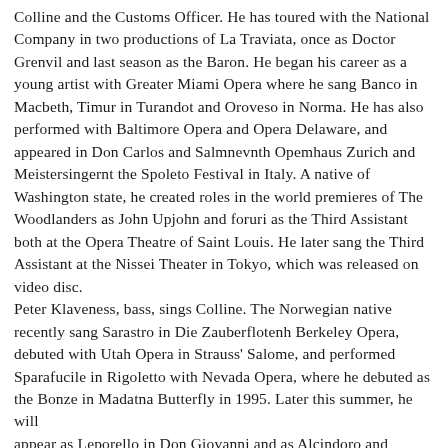Colline and the Customs Officer. He has toured with the National Company in two productions of La Traviata, once as Doctor Grenvil and last season as the Baron. He began his career as a young artist with Greater Miami Opera where he sang Banco in Macbeth, Timur in Turandot and Oroveso in Norma. He has also performed with Baltimore Opera and Opera Delaware, and appeared in Don Carlos and Salmnevnth Opemhaus Zurich and Meistersingernt the Spoleto Festival in Italy. A native of Washington state, he created roles in the world premieres of The Woodlanders as John Upjohn and foruri as the Third Assistant both at the Opera Theatre of Saint Louis. He later sang the Third Assistant at the Nissei Theater in Tokyo, which was released on video disc.
Peter Klaveness, bass, sings Colline. The Norwegian native recently sang Sarastro in Die Zauberflotenh Berkeley Opera, debuted with Utah Opera in Strauss' Salome, and performed Sparafucile in Rigoletto with Nevada Opera, where he debuted as the Bonze in Madatna Butterfly in 1995. Later this summer, he will
appear as Leporello in Don Giovanni and as Alcindoro and Benoit in La Boheme in summer festival productions in California vineyards and mountains. This year he also appears as the bass soloist with the American Bach Soloists in Mozart's Grand Mass in c minor, and the Philharmonia Baroque.